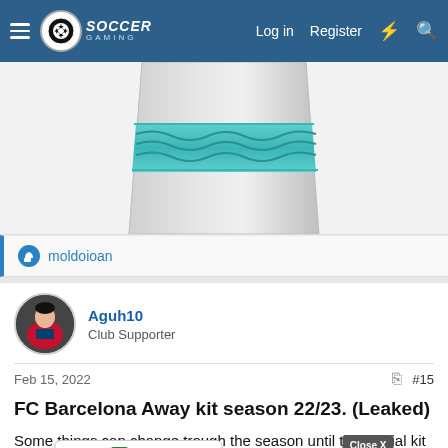Soccer Gaming | Log in | Register
[Figure (photo): Partial view of an FC Barcelona away kit / jersey shown from below, silver/grey with a teal/cyan wave pattern band]
moldoioan
Aguh10
Club Supporter
Feb 15, 2022   #15
FC Barcelona Away kit season 22/23. (Leaked)
Some things can change trough the season until the official kit will be a